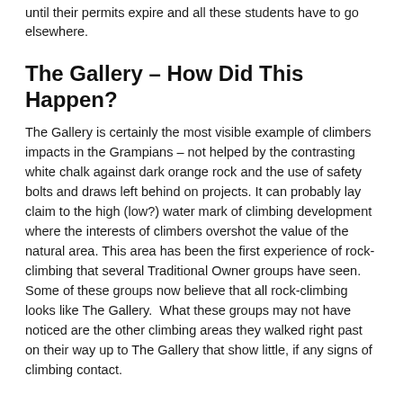until their permits expire and all these students have to go elsewhere.
The Gallery – How Did This Happen?
The Gallery is certainly the most visible example of climbers impacts in the Grampians – not helped by the contrasting white chalk against dark orange rock and the use of safety bolts and draws left behind on projects. It can probably lay claim to the high (low?) water mark of climbing development where the interests of climbers overshot the value of the natural area. This area has been the first experience of rock-climbing that several Traditional Owner groups have seen. Some of these groups now believe that all rock-climbing looks like The Gallery.  What these groups may not have noticed are the other climbing areas they walked right past on their way up to The Gallery that show little, if any signs of climbing contact.